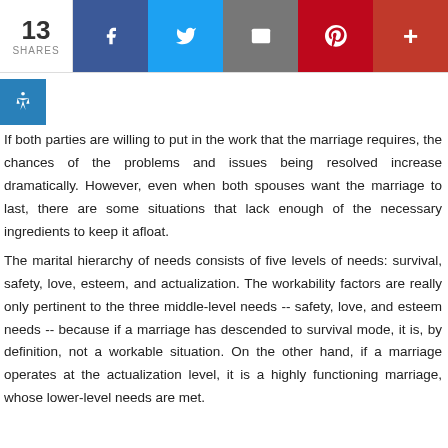[Figure (screenshot): Social share bar showing 13 SHARES count, with Facebook, Twitter, Email, Pinterest, and More buttons]
[Figure (other): Blue accessibility icon button with wheelchair symbol]
If both parties are willing to put in the work that the marriage requires, the chances of the problems and issues being resolved increase dramatically. However, even when both spouses want the marriage to last, there are some situations that lack enough of the necessary ingredients to keep it afloat.
The marital hierarchy of needs consists of five levels of needs: survival, safety, love, esteem, and actualization. The workability factors are really only pertinent to the three middle-level needs -- safety, love, and esteem needs -- because if a marriage has descended to survival mode, it is, by definition, not a workable situation. On the other hand, if a marriage operates at the actualization level, it is a highly functioning marriage, whose lower-level needs are met.